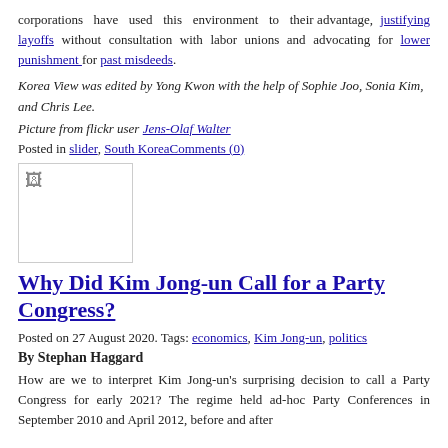corporations have used this environment to their advantage, justifying layoffs without consultation with labor unions and advocating for lower punishment for past misdeeds.
Korea View was edited by Yong Kwon with the help of Sophie Joo, Sonia Kim, and Chris Lee.
Picture from flickr user Jens-Olaf Walter
Posted in slider, South KoreaComments (0)
[Figure (photo): Small thumbnail image placeholder]
Why Did Kim Jong-un Call for a Party Congress?
Posted on 27 August 2020. Tags: economics, Kim Jong-un, politics
By Stephan Haggard
How are we to interpret Kim Jong-un's surprising decision to call a Party Congress for early 2021? The regime held ad-hoc Party Conferences in September 2010 and April 2012, before and after